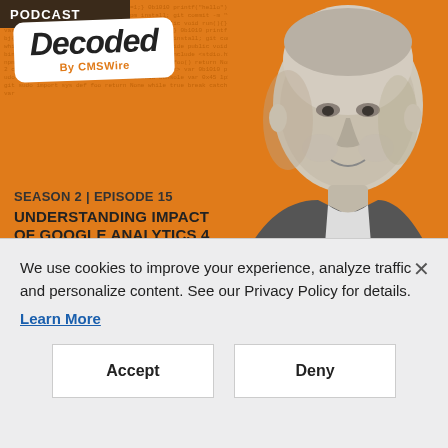[Figure (other): Podcast cover image with orange background containing code text pattern. Shows 'PODCAST' label in dark bar top-left, 'Decoded By CMSWire' badge in white rounded rectangle, and black-and-white photo of Brian Clifton on right side. Bottom-left shows episode info: SEASON 2 | EPISODE 15, UNDERSTANDING IMPACT OF GOOGLE ANALYTICS 4 WITH BRIAN CLIFTON]
CUSTOMER EXPERIENCE
CX Decoded Podcast: Brian
We use cookies to improve your experience, analyze traffic and personalize content. See our Privacy Policy for details.
Learn More
Accept
Deny